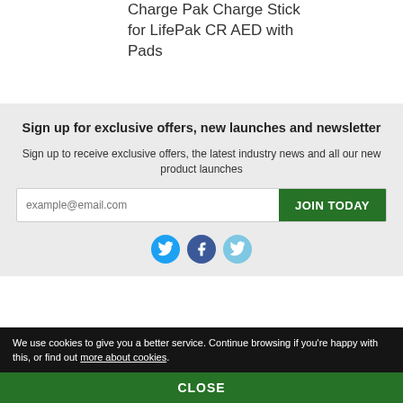Charge Pak Charge Stick for LifePak CR AED with Pads
Sign up for exclusive offers, new launches and newsletter
Sign up to receive exclusive offers, the latest industry news and all our new product launches
example@email.com  JOIN TODAY
[Figure (illustration): Social media icons: Twitter (blue), Facebook (dark blue), and another Twitter/social (light blue) circles]
We use cookies to give you a better service. Continue browsing if you're happy with this, or find out more about cookies.
CLOSE